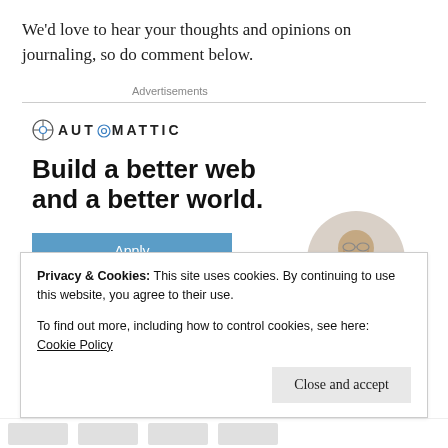We'd love to hear your thoughts and opinions on journaling, so do comment below.
Advertisements
[Figure (logo): Automattic logo with circular compass-like icon and uppercase letter-spaced text 'AUTOMATTIC']
[Figure (infographic): Automattic advertisement: bold headline 'Build a better web and a better world.' with a blue 'Apply' button and a circular photo of a man thinking]
Privacy & Cookies: This site uses cookies. By continuing to use this website, you agree to their use.
To find out more, including how to control cookies, see here: Cookie Policy
Close and accept